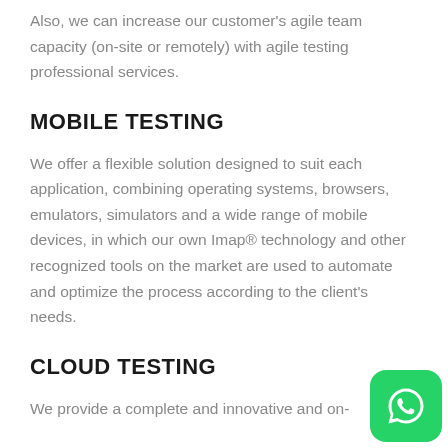Also, we can increase our customer's agile team capacity (on-site or remotely) with agile testing professional services.
MOBILE TESTING
We offer a flexible solution designed to suit each application, combining operating systems, browsers, emulators, simulators and a wide range of mobile devices, in which our own Imap® technology and other recognized tools on the market are used to automate and optimize the process according to the client's needs.
CLOUD TESTING
We provide a complete and innovative and on-
[Figure (logo): WhatsApp green icon button in the bottom right corner]